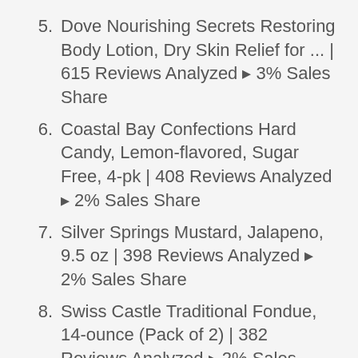5. Dove Nourishing Secrets Restoring Body Lotion, Dry Skin Relief for ... | 615 Reviews Analyzed ▸ 3% Sales Share
6. Coastal Bay Confections Hard Candy, Lemon-flavored, Sugar Free, 4-pk | 408 Reviews Analyzed ▸ 2% Sales Share
7. Silver Springs Mustard, Jalapeno, 9.5 oz | 398 Reviews Analyzed ▸ 2% Sales Share
8. Swiss Castle Traditional Fondue, 14-ounce (Pack of 2) | 382 Reviews Analyzed ▸ 2% Sales Share
9. Silver Springs Sauce Horseradish Sassy | 334 Reviews Analyzed ▸ 2% Sales Share
10. True Made Foods Original Veracha, Vegetable